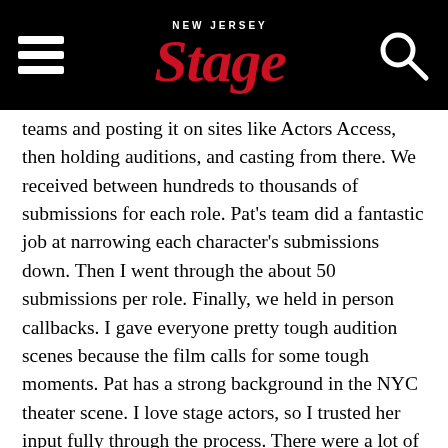New Jersey Stage
teams and posting it on sites like Actors Access, then holding auditions, and casting from there. We received between hundreds to thousands of submissions for each role. Pat's team did a fantastic job at narrowing each character's submissions down. Then I went through the about 50 submissions per role. Finally, we held in person callbacks. I gave everyone pretty tough audition scenes because the film calls for some tough moments. Pat has a strong background in the NYC theater scene. I love stage actors, so I trusted her input fully through the process. There were a lot of very strong actors who came in. Ultimately, we decided to stick with the best actors for the roles. This film is such an ensemble piece that I'd hate